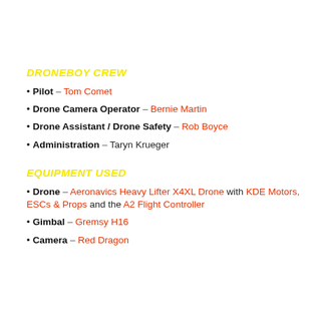DRONEBOY CREW
Pilot – Tom Comet
Drone Camera Operator – Bernie Martin
Drone Assistant / Drone Safety – Rob Boyce
Administration – Taryn Krueger
EQUIPMENT USED
Drone – Aeronavics Heavy Lifter X4XL Drone with KDE Motors, ESCs & Props and the A2 Flight Controller
Gimbal – Gremsy H16
Camera – Red Dragon